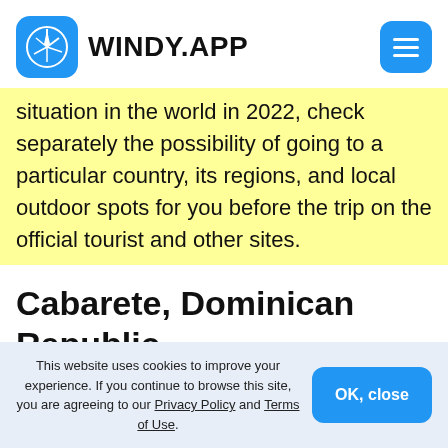WINDY.APP
situation in the world in 2022, check separately the possibility of going to a particular country, its regions, and local outdoor spots for you before the trip on the official tourist and other sites.
Cabarete, Dominican Republic
This website uses cookies to improve your experience. If you continue to browse this site, you are agreeing to our Privacy Policy and Terms of Use.